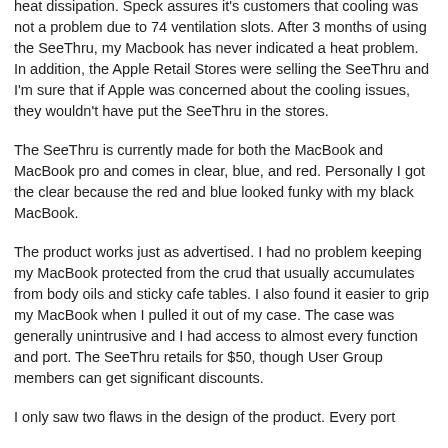heat dissipation. Speck assures it's customers that cooling was not a problem due to 74 ventilation slots. After 3 months of using the SeeThru, my Macbook has never indicated a heat problem. In addition, the Apple Retail Stores were selling the SeeThru and I'm sure that if Apple was concerned about the cooling issues, they wouldn't have put the SeeThru in the stores.
The SeeThru is currently made for both the MacBook and MacBook pro and comes in clear, blue, and red. Personally I got the clear because the red and blue looked funky with my black MacBook.
The product works just as advertised. I had no problem keeping my MacBook protected from the crud that usually accumulates from body oils and sticky cafe tables. I also found it easier to grip my MacBook when I pulled it out of my case. The case was generally unintrusive and I had access to almost every function and port. The SeeThru retails for $50, though User Group members can get significant discounts.
I only saw two flaws in the design of the product. Every port